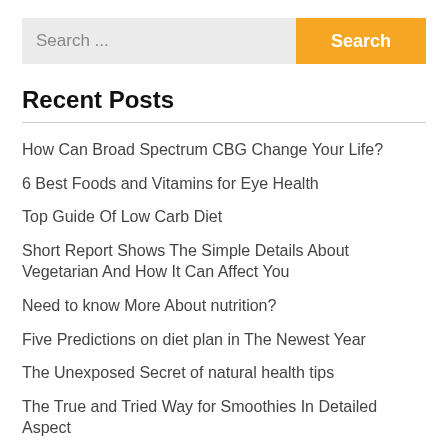Search ...
Recent Posts
How Can Broad Spectrum CBG Change Your Life?
6 Best Foods and Vitamins for Eye Health
Top Guide Of Low Carb Diet
Short Report Shows The Simple Details About Vegetarian And How It Can Affect You
Need to know More About nutrition?
Five Predictions on diet plan in The Newest Year
The Unexposed Secret of natural health tips
The True and Tried Way for Smoothies In Detailed Aspect
The War Against health care